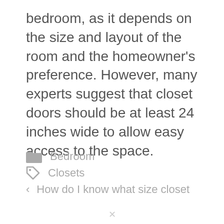bedroom, as it depends on the size and layout of the room and the homeowner's preference. However, many experts suggest that closet doors should be at least 24 inches wide to allow easy access to the space.
Bedroom
Closets
How do I know what size closet